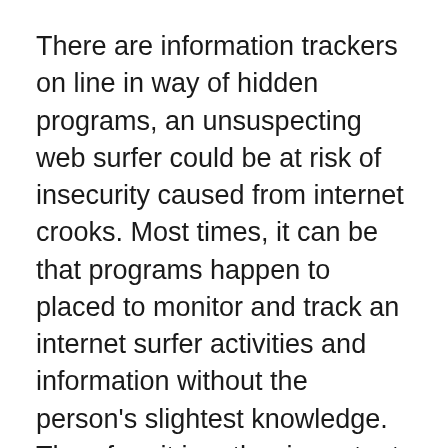There are information trackers on line in way of hidden programs, an unsuspecting web surfer could be at risk of insecurity caused from internet crooks. Most times, it can be that programs happen to placed to monitor and track an internet surfer activities and information without the person's slightest knowledge. Therefore it is rather important that as an on the net Casino player, you take a measure to guide against the foregoing.
There are prizes and fun money that are engaged as the means of your games which might be played. Exciting process casino company executives plan the games accordingly and out the games in the event.The main objective of this hire through